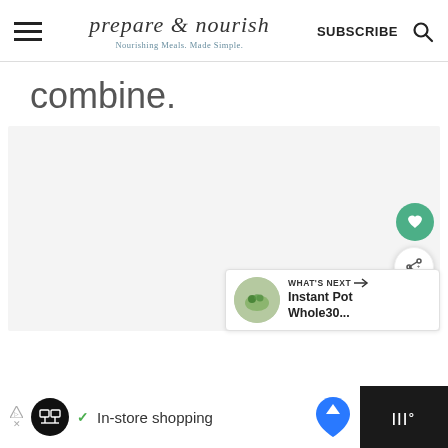prepare & nourish — Nourishing Meals. Made Simple. | SUBSCRIBE
combine.
[Figure (screenshot): Light gray content area placeholder with floating heart and share buttons, and a 'WHAT'S NEXT' card showing 'Instant Pot Whole30...']
Ad: In-store shopping